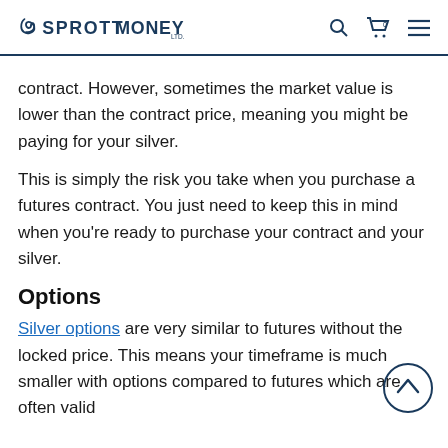SPROTT MONEY
contract. However, sometimes the market value is lower than the contract price, meaning you might be paying for your silver.
This is simply the risk you take when you purchase a futures contract. You just need to keep this in mind when you're ready to purchase your contract and your silver.
Options
Silver options are very similar to futures without the locked price. This means your timeframe is much smaller with options compared to futures which are often valid